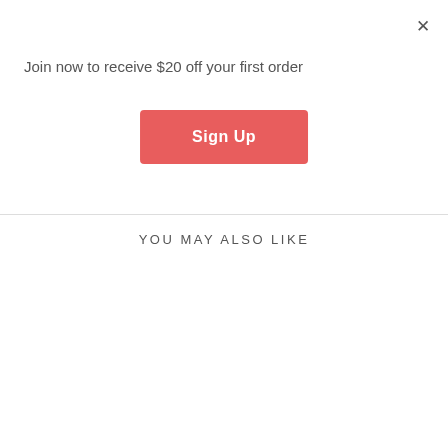×
Join now to receive $20 off your first order
Sign Up
YOU MAY ALSO LIKE